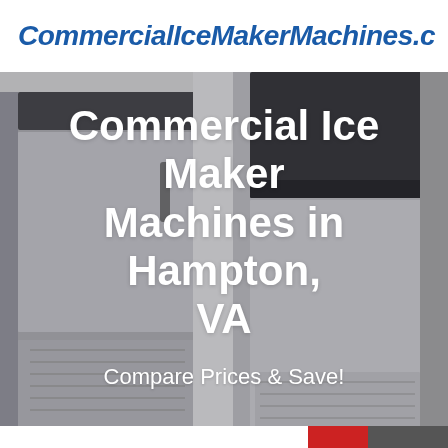CommercialIceMakerMachines.c
[Figure (photo): Commercial ice maker machines, two stainless steel units shown side by side on a grey background]
Commercial Ice Maker Machines in Hampton, VA
Compare Prices & Save!